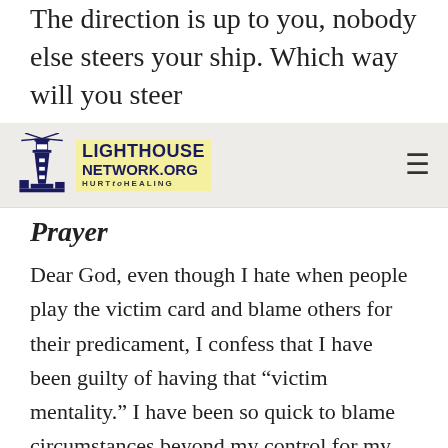The direction is up to you, nobody else steers your ship. Which way will you steer
[Figure (logo): Lighthouse Network.org HURT to HEALING logo with lighthouse icon]
Prayer
Dear God, even though I hate when people play the victim card and blame others for their predicament, I confess that I have been guilty of having that “victim mentality.” I have been so quick to blame circumstances beyond my control for my unhappiness. I pray, Father, that You help turn my mind to those things that I can control. Help me, Father, to remember that You are the one and only true source of